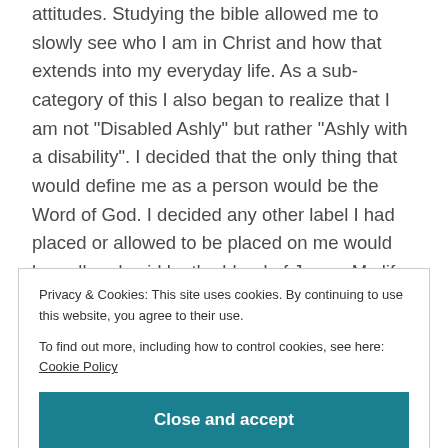attitudes.  Studying the bible allowed me to slowly see who I am in Christ and how that extends into my everyday life.  As a sub-category of this I also began to realize that I am not "Disabled Ashly" but rather "Ashly with a disability".  I decided that the only thing that would define me as a person would be the Word of God.  I decided any other label I had placed or allowed to be placed on me would be null and void by the blood of Jesus.  My life would be lived through Ashly and not through having one leg.
Privacy & Cookies: This site uses cookies. By continuing to use this website, you agree to their use.
To find out more, including how to control cookies, see here: Cookie Policy
Close and accept
...